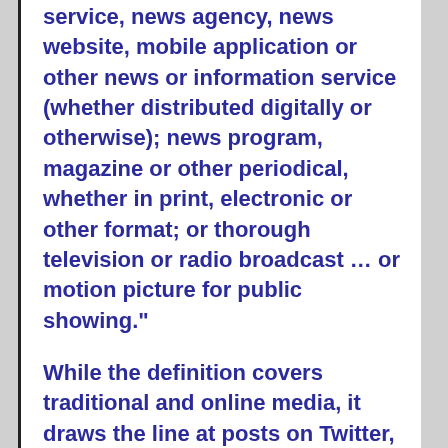service, news agency, news website, mobile application or other news or information service (whether distributed digitally or otherwise); news program, magazine or other periodical, whether in print, electronic or other format; or thorough television or radio broadcast … or motion picture for public showing."
While the definition covers traditional and online media, it draws the line at posts on Twitter, blogs or other social media websites by non-journalists.